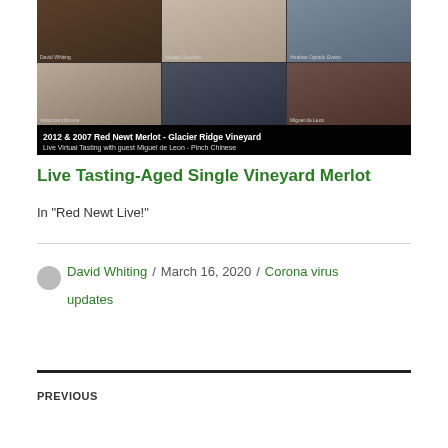[Figure (screenshot): Video thumbnail of a virtual wine tasting Zoom call showing 6 participants in a grid layout, with video player controls and title overlay: '2012 & 2007 Red Newt Merlot - Glacier Ridge Vineyard / Live Virtual Tasting with guest Miguel de Leon - Pinch Chinese']
Live Tasting-Aged Single Vineyard Merlot
In "Red Newt Live!"
David Whiting / March 16, 2020 / Corona virus updates
PREVIOUS